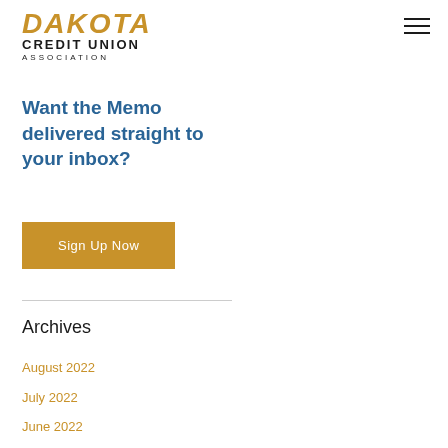[Figure (logo): Dakota Credit Union Association logo with italic gold DAKOTA text and black CREDIT UNION ASSOCIATION text below]
Want the Memo delivered straight to your inbox?
Sign Up Now
Archives
August 2022
July 2022
June 2022